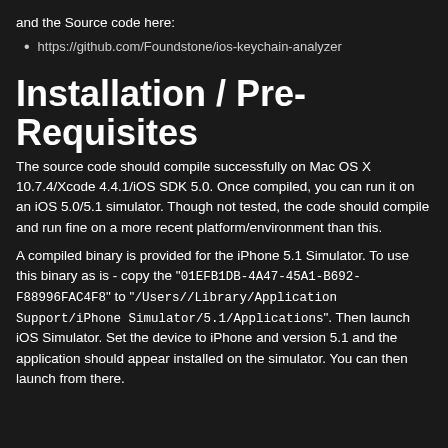and the Source code here:
https://github.com/Foundstone/ios-keychain-analyzer
Installation / Pre-Requisites
The source code should compile successfully on Mac OS X 10.7.4/Xcode 4.4.1/iOS SDK 5.0. Once compiled, you can run it on an iOS 5.0/5.1 simulator. Though not tested, the code should compile and run fine on a more recent platform/environment than this.
A compiled binary is provided for the iPhone 5.1 Simulator. To use this binary as is - copy the "01EFB1DB-4A47-45A1-B692-F88996FAC4F8" to "/Users//Library/Application Support/iPhone Simulator/5.1/Applications". Then launch iOS Simulator. Set the device to iPhone and version 5.1 and the application should appear installed on the simulator. You can then launch from there.